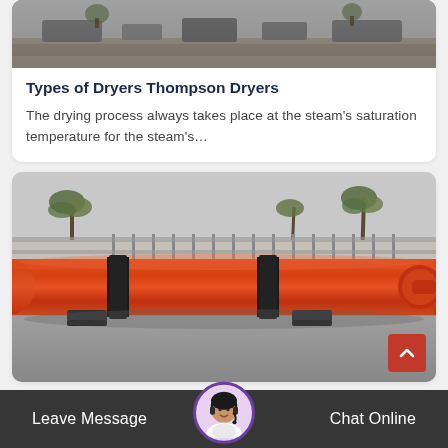[Figure (photo): Partial view of an outdoor industrial scene, top portion of image card]
Types of Dryers Thompson Dryers
The drying process always takes place at the steam's saturation temperature for the steam's…
[Figure (photo): Large red rotary drum dryer machine photographed outdoors with palm trees and a fence visible in the background]
Leave Message   Chat Online